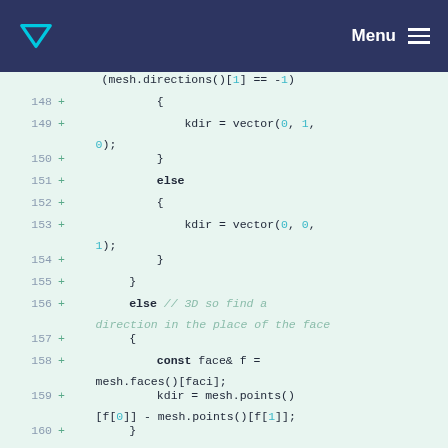Menu
Code diff viewer showing lines 148–161 of a C++ mesh processing file. Lines include code for setting kdir vector based on mesh directions, an else branch for 3D face direction, const face& f = mesh.faces()[faci]; kdir = mesh.points()[f[0]] - mesh.points()[f[1]]; and #else directive.